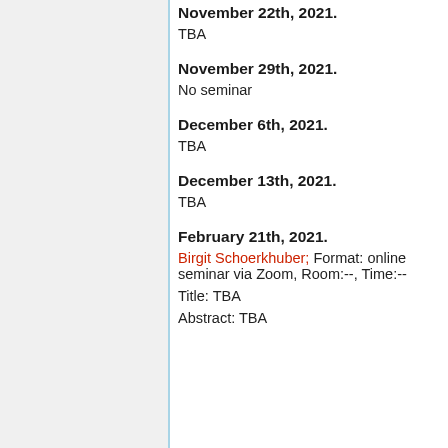November 22th, 2021.
TBA
November 29th, 2021.
No seminar
December 6th, 2021.
TBA
December 13th, 2021.
TBA
February 21th, 2021.
Birgit Schoerkhuber; Format: online seminar via Zoom, Room:--, Time:--
Title: TBA
Abstract: TBA